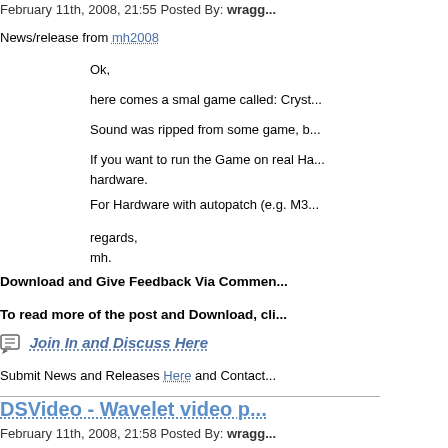February 11th, 2008, 21:55 Posted By: wragg...
News/release from mh2008
Ok,
here comes a smal game called: Cryst...
Sound was ripped from some game, b...
If you want to run the Game on real Ha... hardware.
For Hardware with autopatch (e.g. M3...
regards,
mh.
Download and Give Feedback Via Commen...
To read more of the post and Download, cli...
Join In and Discuss Here
Submit News and Releases Here and Contact...
DSVideo - Wavelet video p...
February 11th, 2008, 21:58 Posted By: wragg...
News/release from nickludlam
We've just opened the doors to http://...
The player includes a short sample vi...